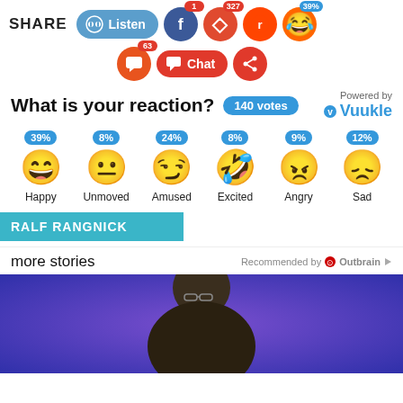[Figure (screenshot): Share bar with Listen button and social media icons (Facebook, Flipboard, Reddit, emoji) with badges showing counts: 1, 327, 39%]
[Figure (screenshot): Second row with comment icon (badge 63), Chat button, and share icon]
What is your reaction? 140 votes Powered by Vuukle
[Figure (infographic): Emoji reaction widget showing: Happy 39%, Unmoved 8%, Amused 24%, Excited 8%, Angry 9%, Sad 12%]
RALF RANGNICK
more stories Recommended by Outbrain
[Figure (photo): Photo of a person speaking, purple/blue background, bottom portion of page]